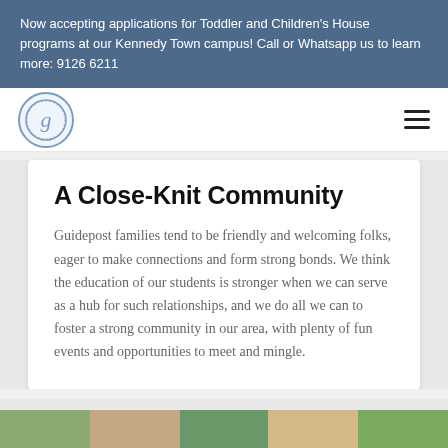Now accepting applications for Toddler and Children's House programs at our Kennedy Town campus! Call or Whatsapp us to learn more: 9126 6211
[Figure (logo): Guidepost Montessori circular logo with stylized letter g]
A Close-Knit Community
Guidepost families tend to be friendly and welcoming folks, eager to make connections and form strong bonds. We think the education of our students is stronger when we can serve as a hub for such relationships, and we do all we can to foster a strong community in our area, with plenty of fun events and opportunities to meet and mingle.
[Figure (photo): Partial view of colorful photo strip at the bottom of the page]